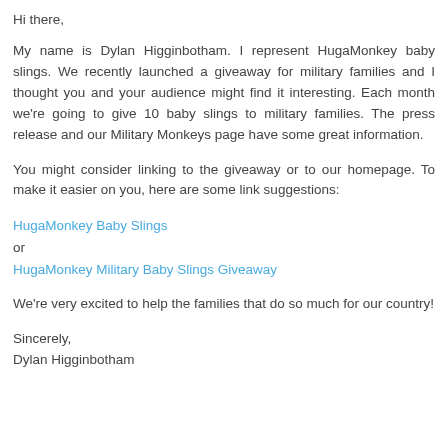Hi there,
My name is Dylan Higginbotham. I represent HugaMonkey baby slings. We recently launched a giveaway for military families and I thought you and your audience might find it interesting. Each month we're going to give 10 baby slings to military families. The press release and our Military Monkeys page have some great information.
You might consider linking to the giveaway or to our homepage. To make it easier on you, here are some link suggestions:
HugaMonkey Baby Slings
or
HugaMonkey Military Baby Slings Giveaway
We're very excited to help the families that do so much for our country!
Sincerely,
Dylan Higginbotham